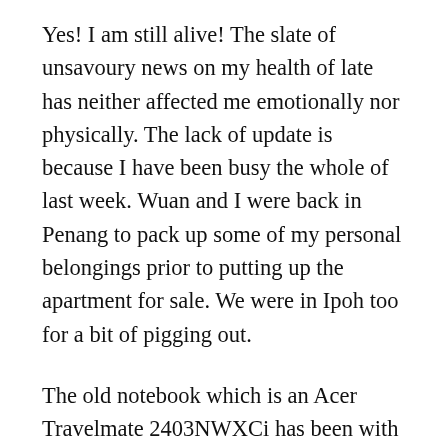Yes! I am still alive! The slate of unsavoury news on my health of late has neither affected me emotionally nor physically. The lack of update is because I have been busy the whole of last week. Wuan and I were back in Penang to pack up some of my personal belongings prior to putting up the apartment for sale. We were in Ipoh too for a bit of pigging out.
The old notebook which is an Acer Travelmate 2403NWXCi has been with me for two and a half years already. It has gone with me to Tokyo right smack in the middle of winter for two weeks. Thereafter, it went with me to Bangkok for three weeks. We were in Seoul for one week last autumn. It has served me well